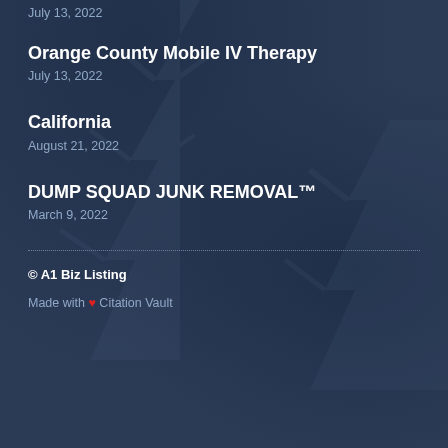July 13, 2022
Orange County Mobile IV Therapy
July 13, 2022
California
August 21, 2022
DUMP SQUAD JUNK REMOVAL™
March 9, 2022
© A1 Biz Listing
Made with ❤ Citation Vault